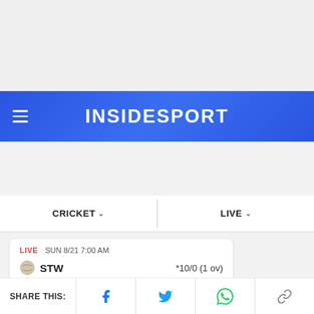[Figure (screenshot): InsideSport website header — blue navigation bar with hamburger menu icon on left and INSIDESPORT logo centered in white text]
CRICKET ∨
LIVE ∨
LIVE  SUN 8/21 7:00 AM
STW  *10/0 (1 ov)
SHARE THIS: